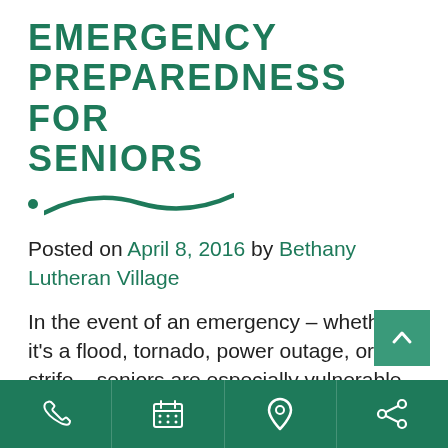EMERGENCY PREPAREDNESS FOR SENIORS
Posted on April 8, 2016 by Bethany Lutheran Village
In the event of an emergency – whether it's a flood, tornado, power outage, or civil strife – seniors are especially vulnerable. That why emergency preparedness is so vital for seniors. In fact, the American Red Cross recommends that seniors have a support
Phone | Calendar | Location | Share